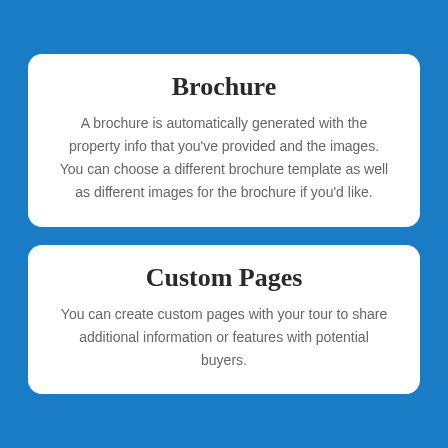Brochure
A brochure is automatically generated with the property info that you've provided and the images. You can choose a different brochure template as well as different images for the brochure if you'd like.
Custom Pages
You can create custom pages with your tour to share additional information or features with potential buyers.